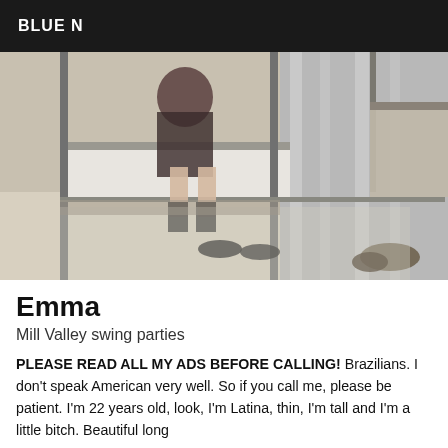BLUE N
[Figure (photo): A woman wearing black lingerie and high heels, sitting on a bed in a bedroom setting, photographed through a bunk bed frame. The room has white curtains in the background.]
Emma
Mill Valley swing parties
PLEASE READ ALL MY ADS BEFORE CALLING! Brazilians. I don't speak American very well. So if you call me, please be patient. I'm 22 years old, look, I'm Latina, thin, I'm tall and I'm a little bitch. Beautiful long